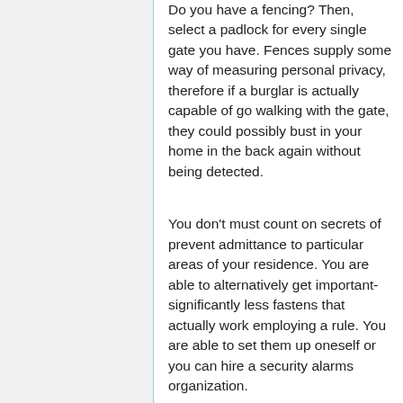Do you have a fencing? Then, select a padlock for every single gate you have. Fences supply some way of measuring personal privacy, therefore if a burglar is actually capable of go walking with the gate, they could possibly bust in your home in the back again without being detected.
You don't must count on secrets of prevent admittance to particular areas of your residence. You are able to alternatively get important-significantly less fastens that actually work employing a rule. You are able to set them up oneself or you can hire a security alarms organization.
If somebody knocks in your entrance